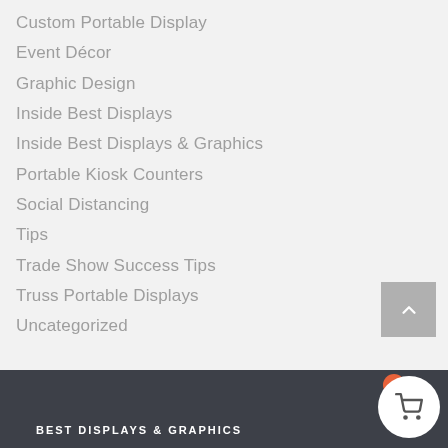Custom Portable Display
Event Décor
Graphic Design
Inside Best Displays
Inside Best Displays & Graphics
Portable Kiosk Counters
Social Distancing
Tips
Trade Show Success Tips
Truss Portable Displays
Uncategorized
BEST DISPLAYS & GRAPHICS